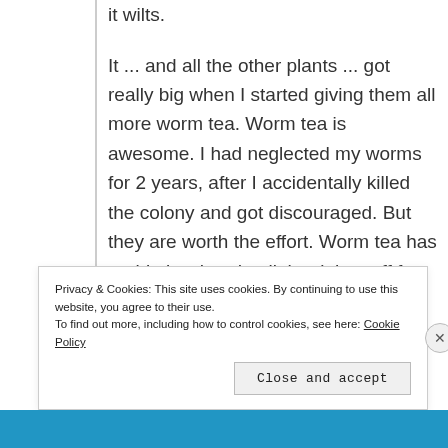it wilts.
It ... and all the other plants ... got really big when I started giving them all more worm tea. Worm tea is awesome. I had neglected my worms for 2 years, after I accidentally killed the colony and got discouraged. But they are worth the effort. Worm tea has probiotics that do all the right stuff for plants.
Privacy & Cookies: This site uses cookies. By continuing to use this website, you agree to their use.
To find out more, including how to control cookies, see here: Cookie Policy
Close and accept